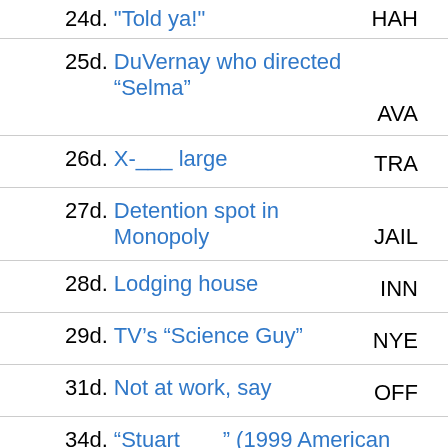24d. "Told ya!" — HAH
25d. DuVernay who directed “Selma” — AVA
26d. X-___ large — TRA
27d. Detention spot in Monopoly — JAIL
28d. Lodging house — INN
29d. TV’s “Science Guy” — NYE
31d. Not at work, say — OFF
34d. “Stuart ___” (1999 American film) — LITTLE